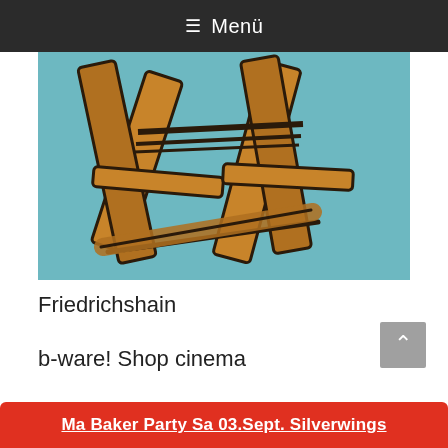≡ Menü
[Figure (illustration): Illustration of a folding wooden director's chair legs on a teal/cyan background, shown from above/side angle with brown wooden slats and dark outlines.]
Friedrichshain
b-ware! Shop cinema
The b-ware! Ladenkino on Gärtnerstraße
Ma Baker Party Sa 03.Sept. Silverwings